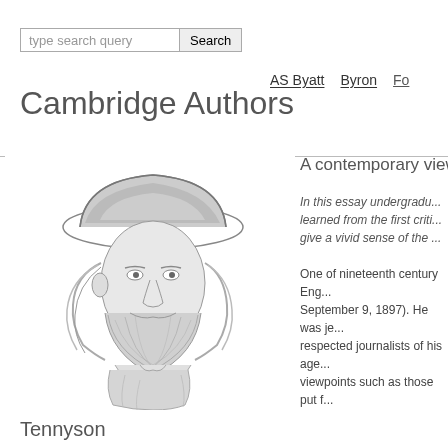type search query  Search
AS Byatt  Byron  Fo
Cambridge Authors
[Figure (illustration): Pencil sketch portrait of Alfred Lord Tennyson, an elderly bearded man wearing a wide-brimmed hat]
Tennyson
A contemporary view: F
In this essay undergradu... learned from the first criti... give a vivid sense of the ...
One of nineteenth century Eng... September 9, 1897). He was je... respected journalists of his age... viewpoints such as those put f...